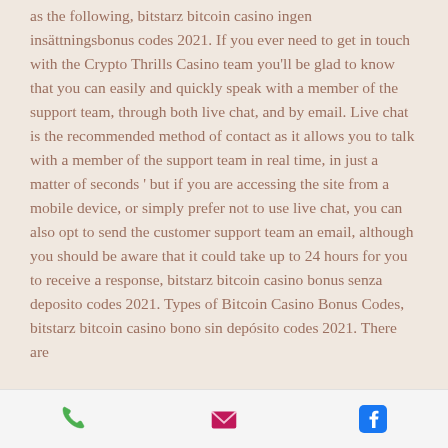as the following, bitstarz bitcoin casino ingen insättningsbonus codes 2021. If you ever need to get in touch with the Crypto Thrills Casino team you'll be glad to know that you can easily and quickly speak with a member of the support team, through both live chat, and by email. Live chat is the recommended method of contact as it allows you to talk with a member of the support team in real time, in just a matter of seconds ' but if you are accessing the site from a mobile device, or simply prefer not to use live chat, you can also opt to send the customer support team an email, although you should be aware that it could take up to 24 hours for you to receive a response, bitstarz bitcoin casino bonus senza deposito codes 2021. Types of Bitcoin Casino Bonus Codes, bitstarz bitcoin casino bono sin depósito codes 2021. There are
[Figure (other): Mobile app footer navigation bar with three icons: a green phone icon, a crimson/pink email envelope icon, and a blue Facebook icon]